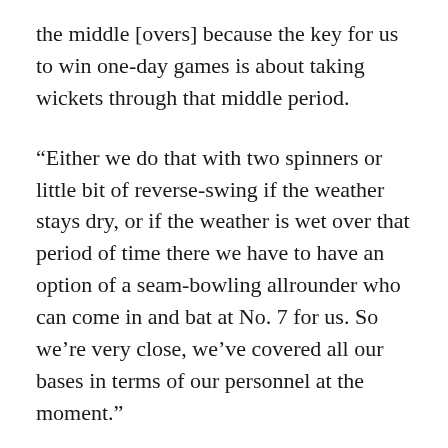the middle [overs] because the key for us to win one-day games is about taking wickets through that middle period.
“Either we do that with two spinners or little bit of reverse-swing if the weather stays dry, or if the weather is wet over that period of time there we have to have an option of a seam-bowling allrounder who can come in and bat at No. 7 for us. So we’re very close, we’ve covered all our bases in terms of our personnel at the moment.”
Pakistan fought hard against South Africa in the ODIs, losing the series 3-2, but their form since they won the Champions Trophy in June 2017 hasn’t been impressive. They have won 15 of their 27 completed matches since then, completing series wins only against Sri Lanka, ranked eighth, and Zimbabwe. In this time they were also blanked 5-0 in New Zealand a year ago, won matches only against